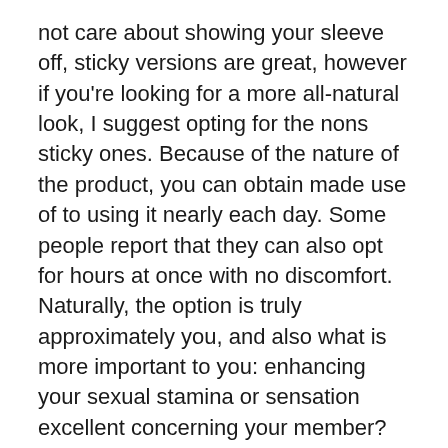not care about showing your sleeve off, sticky versions are great, however if you're looking for a more all-natural look, I suggest opting for the nons sticky ones. Because of the nature of the product, you can obtain made use of to using it nearly each day. Some people report that they can also opt for hours at once with no discomfort. Naturally, the option is truly approximately you, and also what is more important to you: enhancing your sexual stamina or sensation excellent concerning your member?
Last but not least is the penis enhancement surgery path. This involves cutting into your penis as well as drawing it out by the root, apparently increasing the penis in length and girth. Though many credible medical